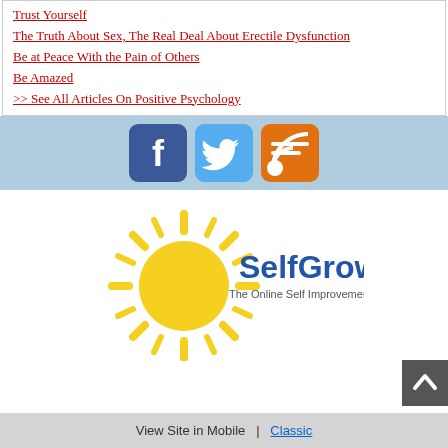Trust Yourself
The Truth About Sex, The Real Deal About Erectile Dysfunction
Be at Peace With the Pain of Others
Be Amazed
>> See All Articles On Positive Psychology
[Figure (logo): Social media icons: Facebook, Twitter, RSS feed]
[Figure (logo): SelfGrowth.com logo with sun graphic and tagline 'The Online Self Improvement Community']
View Site in Mobile  |  Classic